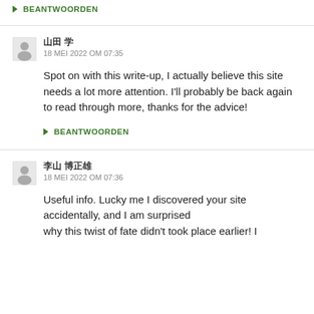➔ BEANTWOORDEN
🖼 ??? ??
18 MEI 2022 OM 07:35
Spot on with this write-up, I actually believe this site needs a lot more attention. I'll probably be back again to read through more, thanks for the advice!
➔ BEANTWOORDEN
🖼 ?? ?????
18 MEI 2022 OM 07:36
Useful info. Lucky me I discovered your site accidentally, and I am surprised why this twist of fate didn't took place earlier! I